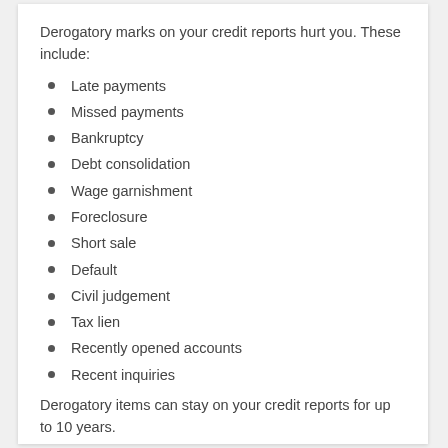Derogatory marks on your credit reports hurt you. These include:
Late payments
Missed payments
Bankruptcy
Debt consolidation
Wage garnishment
Foreclosure
Short sale
Default
Civil judgement
Tax lien
Recently opened accounts
Recent inquiries
Derogatory items can stay on your credit reports for up to 10 years.
Even if you have good credit, each time you receive a